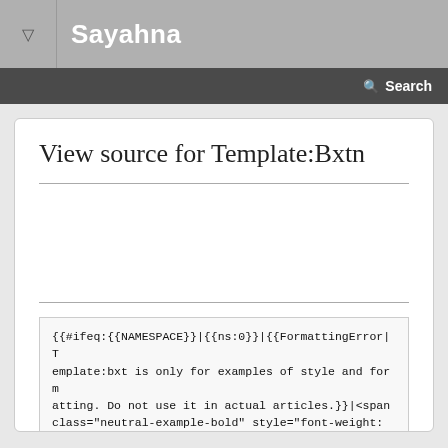Sayahna
Search
View source for Template:Bxtn
{{#ifeq:{{NAMESPACE}}|{{ns:0}}|{{FormattingError|Template:bxt is only for examples of style and formatting. Do not use it in actual articles.}}|<span class="neutral-example-bold" style="font-weight: bold;" {{#if:{{{title|}}}|title="{{{title}}}"}}>  {{{1|Example text}}}</span>}}<noinclude>
{{Documentation}}
</noinclude>